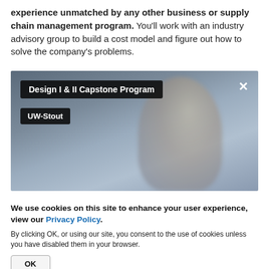experience unmatched by any other business or supply chain management program. You'll work with an industry advisory group to build a cost model and figure out how to solve the company's problems.
[Figure (screenshot): Video player screenshot showing 'Design I & II Capstone Program' by UW-Stout with a blurred person in the background and a close (X) button.]
We use cookies on this site to enhance your user experience, view our Privacy Policy.
By clicking OK, or using our site, you consent to the use of cookies unless you have disabled them in your browser.
OK